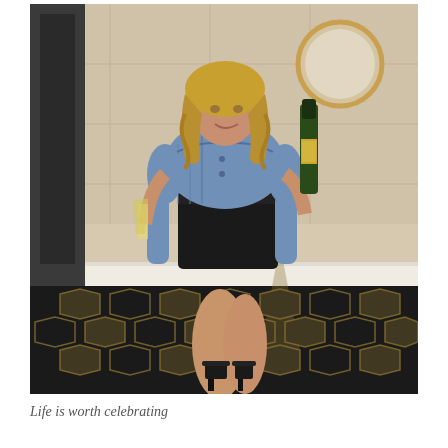[Figure (photo): A woman with blonde wavy hair wearing a blue off-shoulder denim top and black leather mini skirt, holding a champagne flute in one hand and a large dark green champagne bottle in the other. She is standing in a hotel corridor with beige tiled walls and a geometric patterned carpet in dark and gold tones. She wears black ankle-strap heels. A circular gold-framed mirror is visible on the wall behind her.]
Life is worth celebrating